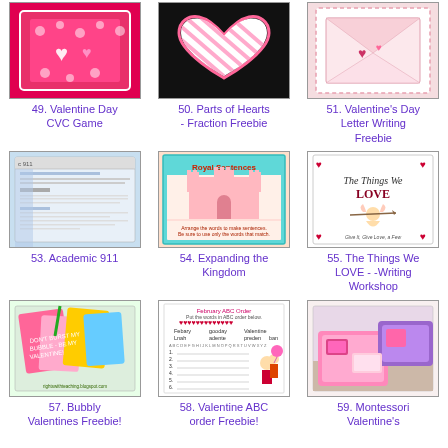[Figure (photo): Valentine Day CVC Game thumbnail - pink/red game card]
49. Valentine Day CVC Game
[Figure (photo): Parts of Hearts - Fraction Freebie thumbnail - heart on black background]
50. Parts of Hearts - Fraction Freebie
[Figure (photo): Valentine's Day Letter Writing Freebie thumbnail - pink lace envelope]
51. Valentine's Day Letter Writing Freebie
[Figure (screenshot): Academic 911 thumbnail - computer screenshot with blue background]
53. Academic 911
[Figure (photo): Expanding the Kingdom thumbnail - Royal Sentences pink castle worksheet]
54. Expanding the Kingdom
[Figure (photo): The Things We LOVE Writing Workshop thumbnail - cupid illustration]
55. The Things We LOVE - -Writing Workshop
[Figure (photo): Bubbly Valentines Freebie thumbnail - colorful valentines cards]
57. Bubbly Valentines Freebie!
[Figure (photo): Valentine ABC order Freebie thumbnail - worksheet with characters]
58. Valentine ABC order Freebie!
[Figure (photo): Montessori Valentine's thumbnail - pink/purple trays]
59. Montessori Valentine's